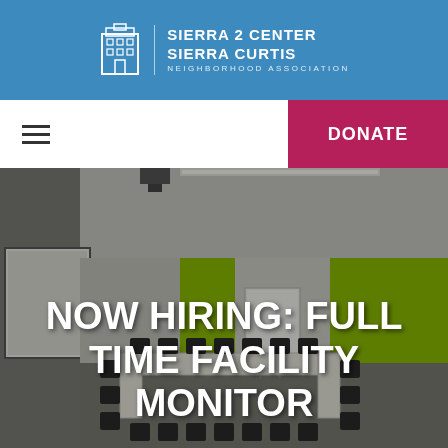SIERRA 2 CENTER | SIERRA CURTIS | NEIGHBORHOOD ASSOCIATION
[Figure (screenshot): Navigation bar with hamburger menu icon on the left and a pink/magenta DONATE button on the right]
[Figure (photo): Conference room interior with white tables arranged in U-shape, black chairs, projection screen on the wall, whiteboard on easel, and lime green accent walls]
NOW HIRING: FULL TIME FACILITY MONITOR